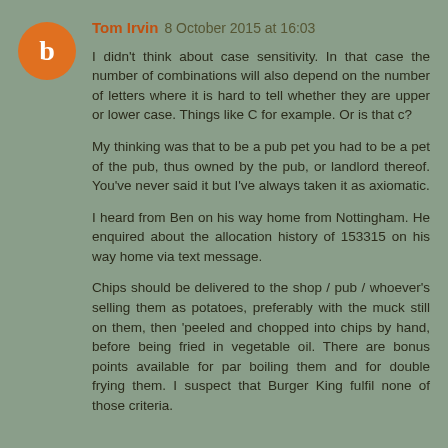Tom Irvin 8 October 2015 at 16:03

I didn't think about case sensitivity. In that case the number of combinations will also depend on the number of letters where it is hard to tell whether they are upper or lower case. Things like C for example. Or is that c?

My thinking was that to be a pub pet you had to be a pet of the pub, thus owned by the pub, or landlord thereof. You've never said it but I've always taken it as axiomatic.

I heard from Ben on his way home from Nottingham. He enquired about the allocation history of 153315 on his way home via text message.

Chips should be delivered to the shop / pub / whoever's selling them as potatoes, preferably with the muck still on them, then 'peeled and chopped into chips by hand, before being fried in vegetable oil. There are bonus points available for par boiling them and for double frying them. I suspect that Burger King fulfil none of those criteria.